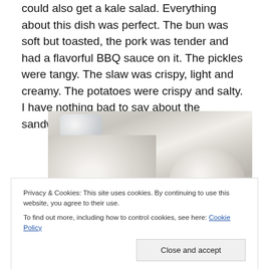could also get a kale salad. Everything about this dish was perfect. The bun was soft but toasted, the pork was tender and had a flavorful BBQ sauce on it. The pickles were tangy. The slaw was crispy, light and creamy. The potatoes were crispy and salty. I have nothing bad to say about the sandwich or the side.
[Figure (photo): Overhead view of a white cup of dark liquid (coffee/broth), a small round bowl with food, and a glass of water on a light surface]
Privacy & Cookies: This site uses cookies. By continuing to use this website, you agree to their use.
To find out more, including how to control cookies, see here: Cookie Policy
[Figure (photo): Bottom portion of another food photo, partially visible]